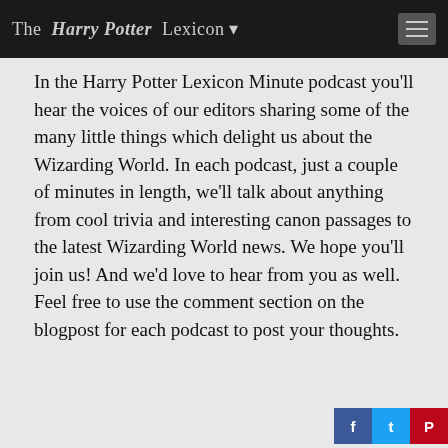The Harry Potter Lexicon
In the Harry Potter Lexicon Minute podcast you'll hear the voices of our editors sharing some of the many little things which delight us about the Wizarding World. In each podcast, just a couple of minutes in length, we'll talk about anything from cool trivia and interesting canon passages to the latest Wizarding World news. We hope you'll join us! And we'd love to hear from you as well. Feel free to use the comment section on the blogpost for each podcast to post your thoughts.